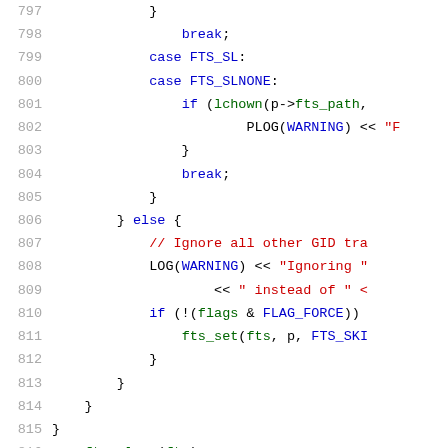[Figure (screenshot): Source code listing lines 797-818 showing C++ code with syntax highlighting. Line numbers in gray on left, keywords in blue, strings/comments in red, function names in green.]